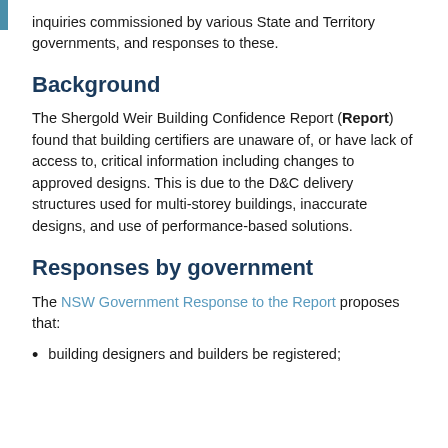inquiries commissioned by various State and Territory governments, and responses to these.
Background
The Shergold Weir Building Confidence Report (Report) found that building certifiers are unaware of, or have lack of access to, critical information including changes to approved designs. This is due to the D&C delivery structures used for multi-storey buildings, inaccurate designs, and use of performance-based solutions.
Responses by government
The NSW Government Response to the Report proposes that:
building designers and builders be registered;